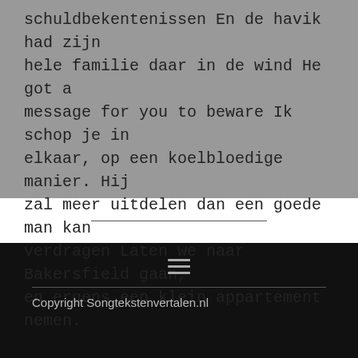schuldbekentenissen En de havik had zijn hele familie daar in de wind He got a message for you to beware Ik schop je in elkaar, op een koelbloedige manier. Hij zal meer uitdelen dan een goede man kan verdragen Laten we naar Bakersfield gaan, en ergens een klein appartement nemen.
Copyright Songtekstenvertalen.nl